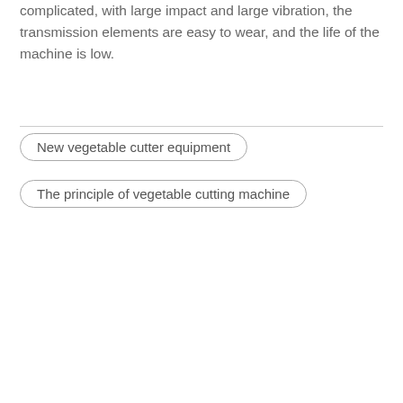complicated, with large impact and large vibration, the transmission elements are easy to wear, and the life of the machine is low.
New vegetable cutter equipment
The principle of vegetable cutting machine